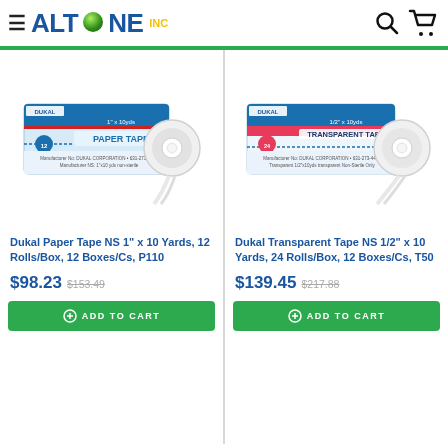AltaOne Inc. - navigation header with logo, search, and cart icons
[Figure (photo): Dukal Paper Tape NS 1" x 10 Yards box with 12 rolls and a single tape roll]
Dukal Paper Tape NS 1" x 10 Yards, 12 Rolls/Box, 12 Boxes/Cs, P110
$98.23 $153.49
ADD TO CART
[Figure (photo): Dukal Transparent Tape NS 1/2" x 10 Yards box with 24 rolls and a single tape roll]
Dukal Transparent Tape NS 1/2" x 10 Yards, 24 Rolls/Box, 12 Boxes/Cs, T50
$139.45 $217.88
ADD TO CART